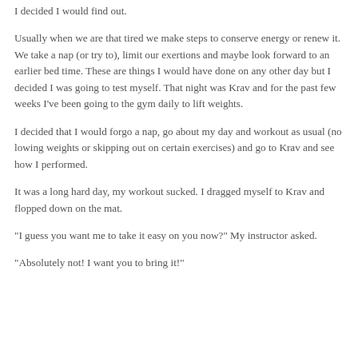I decided I would find out.
Usually when we are that tired we make steps to conserve energy or renew it. We take a nap (or try to), limit our exertions and maybe look forward to an earlier bed time. These are things I would have done on any other day but I decided I was going to test myself. That night was Krav and for the past few weeks I've been going to the gym daily to lift weights.
I decided that I would forgo a nap, go about my day and workout as usual (no lowing weights or skipping out on certain exercises) and go to Krav and see how I performed.
It was a long hard day, my workout sucked. I dragged myself to Krav and flopped down on the mat.
"I guess you want me to take it easy on you now?" My instructor asked.
"Absolutely not! I want you to bring it!"